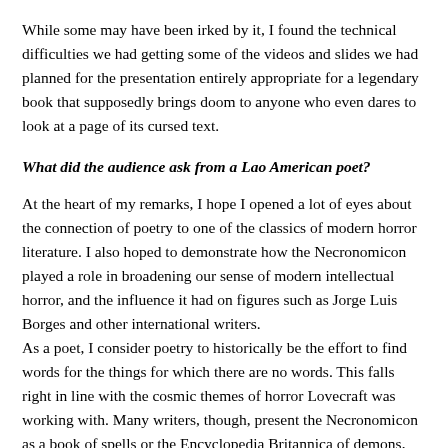While some may have been irked by it, I found the technical difficulties we had getting some of the videos and slides we had planned for the presentation entirely appropriate for a legendary book that supposedly brings doom to anyone who even dares to look at a page of its cursed text.
What did the audience ask from a Lao American poet?
At the heart of my remarks, I hope I opened a lot of eyes about the connection of poetry to one of the classics of modern horror literature. I also hoped to demonstrate how the Necronomicon played a role in broadening our sense of modern intellectual horror, and the influence it had on figures such as Jorge Luis Borges and other international writers.
As a poet, I consider poetry to historically be the effort to find words for the things for which there are no words. This falls right in line with the cosmic themes of horror Lovecraft was working with. Many writers, though, present the Necronomicon as a book of spells or the Encyclopedia Britannica of demons, and while that's certainly allowed, I think it gets away from Lovecraft's